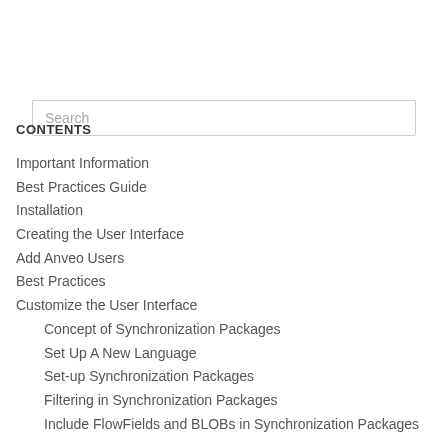[Figure (other): Search input box with placeholder text 'Search']
CONTENTS
Important Information
Best Practices Guide
Installation
Creating the User Interface
Add Anveo Users
Best Practices
Customize the User Interface
Concept of Synchronization Packages
Set Up A New Language
Set-up Synchronization Packages
Filtering in Synchronization Packages
Include FlowFields and BLOBs in Synchronization Packages